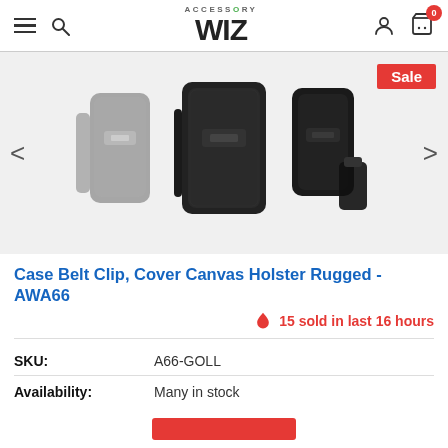ACCESSORY WIZ
[Figure (photo): Product carousel showing three belt clip canvas holster cases in gray, black (center/main), and dark black colorways. A Sale badge appears in top-right corner. Left and right navigation arrows on sides.]
Case Belt Clip, Cover Canvas Holster Rugged - AWA66
15 sold in last 16 hours
| SKU: | A66-GOLL |
| Availability: | Many in stock |